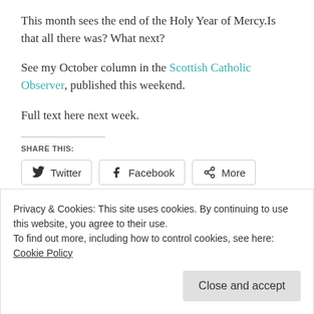This month sees the end of the Holy Year of Mercy.Is that all there was? What next?
See my October column in the Scottish Catholic Observer, published this weekend.
Full text here next week.
SHARE THIS:
Twitter   Facebook   More
Loading...
Privacy & Cookies: This site uses cookies. By continuing to use this website, you agree to their use.
To find out more, including how to control cookies, see here: Cookie Policy
Close and accept